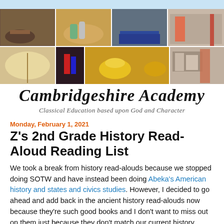[Figure (photo): Header collage of six classroom and activity photos for Cambridgeshire Academy]
Cambridgeshire Academy
Classical Education based upon God and Character
Monday, February 1, 2021
Z's 2nd Grade History Read-Aloud Reading List
We took a break from history read-alouds because we stopped doing SOTW and have instead been doing Abeka's American history and states and civics studies. However, I decided to go ahead and add back in the ancient history read-alouds now because they're such good books and I don't want to miss out on them just because they don't match our current history study.  We're also reading American